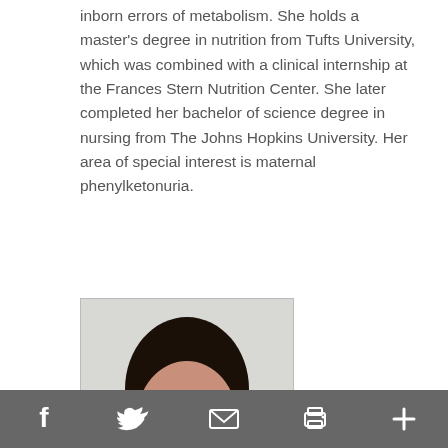inborn errors of metabolism. She holds a master's degree in nutrition from Tufts University, which was combined with a clinical internship at the Frances Stern Nutrition Center. She later completed her bachelor of science degree in nursing from The Johns Hopkins University. Her area of special interest is maternal phenylketonuria.
[Figure (photo): Headshot photo of Angela Pipitone Dempsey, a woman with long dark hair wearing a teal v-neck top, smiling, against a light background]
Angela Pipitone Dempsey, R.D., L.D.N., C.N.S.C.
Social share bar with Facebook, Twitter, Email, Print, and Plus icons